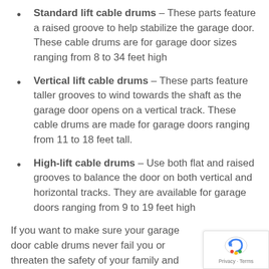Standard lift cable drums – These parts feature a raised groove to help stabilize the garage door. These cable drums are for garage door sizes ranging from 8 to 34 feet high
Vertical lift cable drums – These parts feature taller grooves to wind towards the shaft as the garage door opens on a vertical track. These cable drums are made for garage doors ranging from 11 to 18 feet tall.
High-lift cable drums – Use both flat and raised grooves to balance the door on both vertical and horizontal tracks. They are available for garage doors ranging from 9 to 19 feet high
If you want to make sure your garage door cable drums never fail you or threaten the safety of your family and property, call Siouxland Garage